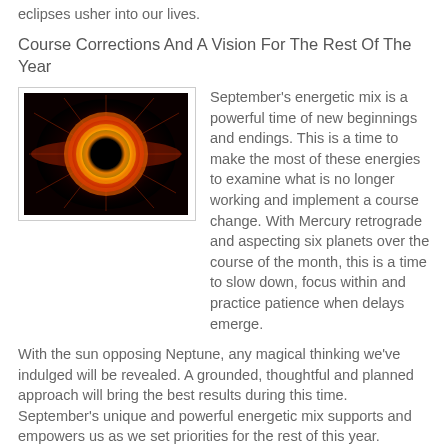eclipses usher into our lives.
Course Corrections And A Vision For The Rest Of The Year
[Figure (photo): A solar eclipse photograph showing a black circle (moon) surrounded by a glowing orange and red corona against a dark background.]
September's energetic mix is a powerful time of new beginnings and endings. This is a time to make the most of these energies to examine what is no longer working and implement a course change. With Mercury retrograde and aspecting six planets over the course of the month, this is a time to slow down, focus within and practice patience when delays emerge.
With the sun opposing Neptune, any magical thinking we've indulged will be revealed. A grounded, thoughtful and planned approach will bring the best results during this time. September's unique and powerful energetic mix supports and empowers us as we set priorities for the rest of this year.